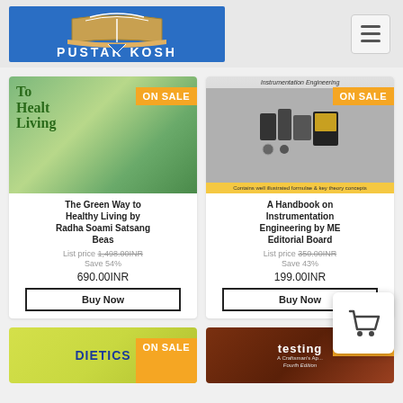PUSTAK KOSH
[Figure (other): Book cover: The Green Way to Healthy Living with ON SALE badge]
The Green Way to Healthy Living by Radha Soami Satsang Beas
List price 1,498.00INR
Save 54%
690.00INR
Buy Now
[Figure (other): Book cover: A Handbook on Instrumentation Engineering with ON SALE badge]
A Handbook on Instrumentation Engineering by ME Editorial Board
List price 350.00INR
Save 43%
199.00INR
Buy Now
[Figure (other): Book cover: DIETETICS with ON SALE badge]
[Figure (other): Book cover: Testing A Craftsman's Approach Fourth Edition with ON SALE badge]